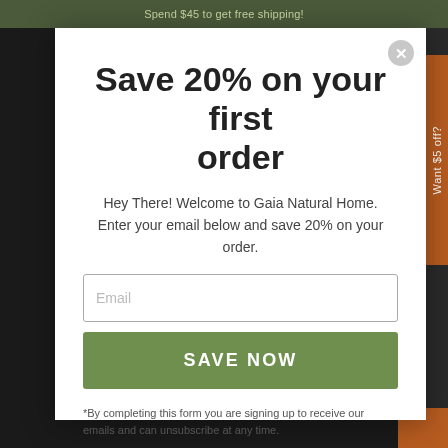Spend $45 to get free shipping!
Save 20% on your first order
Hey There! Welcome to Gaia Natural Home. Enter your email below and save 20% on your order.
Email
SAVE NOW
*By completing this form you are signing up to receive our emails and can unsubscribe at any time.
Want $5 off?